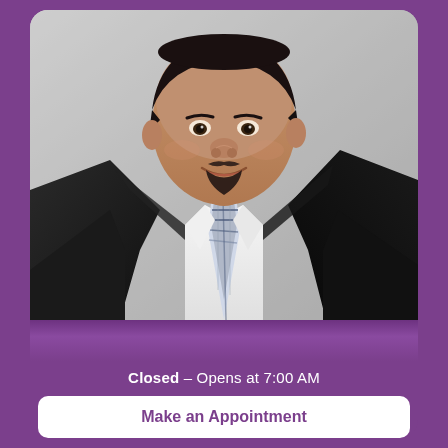[Figure (photo): Professional headshot of a man wearing a black suit, white dress shirt, and a blue/white plaid tie. He has a goatee and is smiling. Background is light grey/studio.]
Closed – Opens at 7:00 AM
Make an Appointment